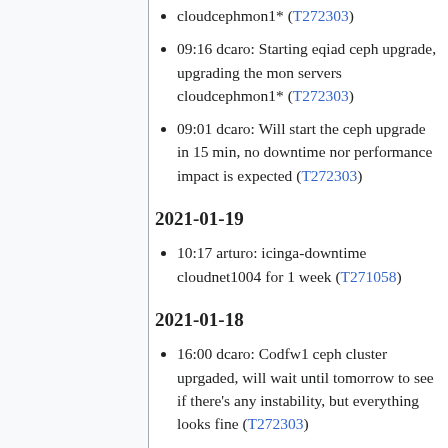cloudcephmon1* (T272303)
09:16 dcaro: Starting eqiad ceph upgrade, upgrading the mon servers cloudcephmon1* (T272303)
09:01 dcaro: Will start the ceph upgrade in 15 min, no downtime nor performance impact is expected (T272303)
2021-01-19
10:17 arturo: icinga-downtime cloudnet1004 for 1 week (T271058)
2021-01-18
16:00 dcaro: Codfw1 ceph cluster uprgaded, will wait until tomorrow to see if there's any instability, but everything looks fine (T272303)
15:38 dcaro: Upgraded mgr sevices on codfw ceph cluster, starting with